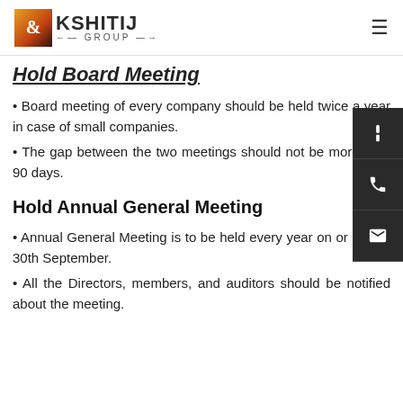KSHITIJ GROUP
Hold Board Meeting
Board meeting of every company should be held twice a year in case of small companies.
The gap between the two meetings should not be more than 90 days.
Hold Annual General Meeting
Annual General Meeting is to be held every year on or before 30th September.
All the Directors, members, and auditors should be notified about the meeting.